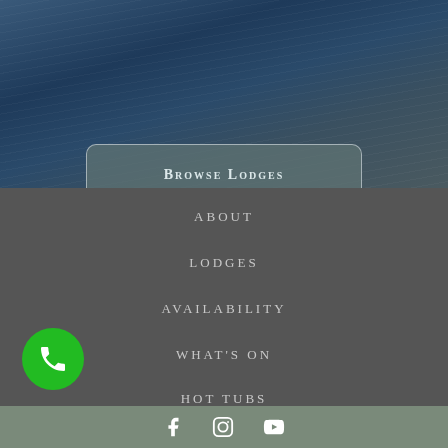[Figure (screenshot): Hero section with dark blue water/wood texture background]
Browse Lodges
ABOUT
LODGES
AVAILABILITY
WHAT'S ON
HOT TUBS
[Figure (infographic): Green phone call button (circular)]
Social media icons: Facebook, Instagram, YouTube